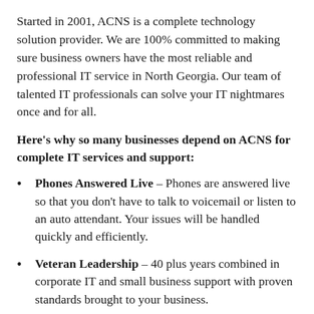Started in 2001, ACNS is a complete technology solution provider. We are 100% committed to making sure business owners have the most reliable and professional IT service in North Georgia. Our team of talented IT professionals can solve your IT nightmares once and for all.
Here's why so many businesses depend on ACNS for complete IT services and support:
Phones Answered Live – Phones are answered live so that you don't have to talk to voicemail or listen to an auto attendant. Your issues will be handled quickly and efficiently.
Veteran Leadership – 40 plus years combined in corporate IT and small business support with proven standards brought to your business.
Long Term Relationships – Deep beliefs in long term relationships. Most of our relationships having been more than 10 years.